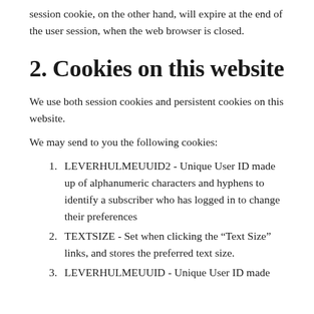session cookie, on the other hand, will expire at the end of the user session, when the web browser is closed.
2. Cookies on this website
We use both session cookies and persistent cookies on this website.
We may send to you the following cookies:
LEVERHULMEUUID2 - Unique User ID made up of alphanumeric characters and hyphens to identify a subscriber who has logged in to change their preferences
TEXTSIZE - Set when clicking the “Text Size” links, and stores the preferred text size.
LEVERHULMEUUID - Unique User ID made